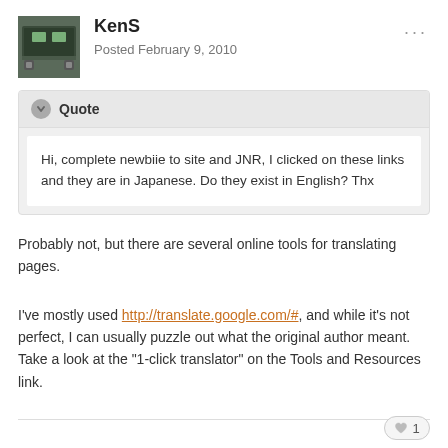KenS
Posted February 9, 2010
Hi, complete newbiie to site and JNR, I clicked on these links and they are in Japanese. Do they exist in English? Thx
Probably not, but there are several online tools for translating pages.
I've mostly used http://translate.google.com/#, and while it's not perfect, I can usually puzzle out what the original author meant. Take a look at the "1-click translator" on the Tools and Resources link.